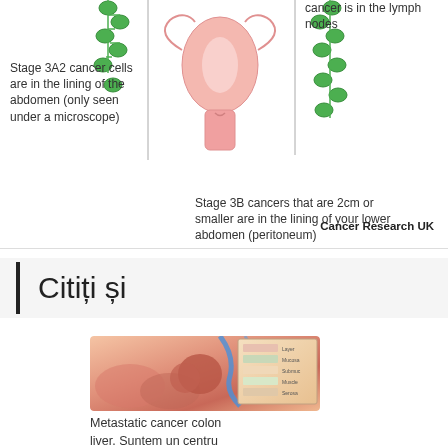[Figure (illustration): Medical diagram showing Stage 3A2 and Stage 3B ovarian cancer stages with lymph nodes and anatomical illustration of the uterus/ovary area. Green circles represent cancer cells in lymph nodes. Labels indicate Stage 3A2 cancer cells are in the lining of the abdomen (only seen under a microscope) and Stage 3B cancers that are 2cm or smaller are in the lining of your lower abdomen (peritoneum).]
Cancer Research UK
Citiți și
[Figure (photo): Medical illustration of metastatic cancer in the colon and liver showing cross-section of colon tissue with tumor growth.]
Metastatic cancer colon liver. Suntem un centru